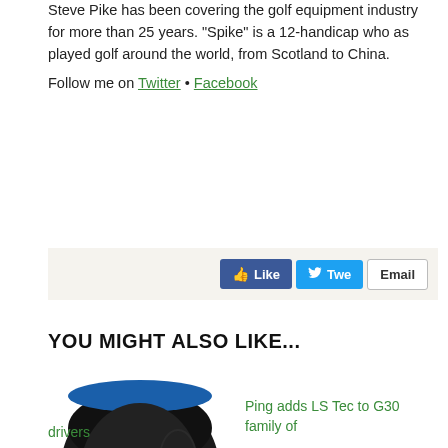Steve Pike has been covering the golf equipment industry for more than 25 years. "Spike" is a 12-handicap who as played golf around the world, from Scotland to China.
Follow me on Twitter • Facebook
[Figure (screenshot): Social share bar with Like, Tweet, and Email buttons]
YOU MIGHT ALSO LIKE...
[Figure (photo): Ping G30 driver golf club head, black with blue accent]
Ping adds LS Tec to G30 family of drivers
[Figure (photo): Nike 20XI golf ball box, partially visible]